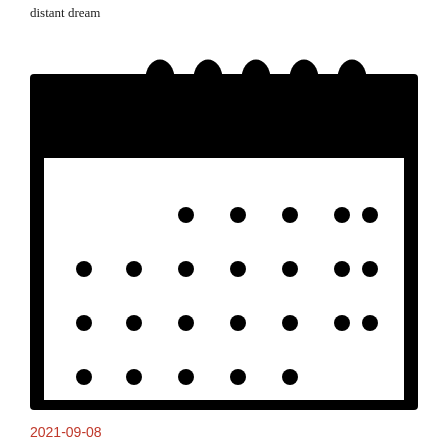distant dream
[Figure (illustration): A stylized calendar icon in black and white. The top portion is solid black with five spiral/coil ring binders rendered as large bold comma-like shapes above the black header bar. The lower portion is a white rectangle with a black border containing rows of black dots arranged in a grid pattern representing calendar days.]
2021-09-08